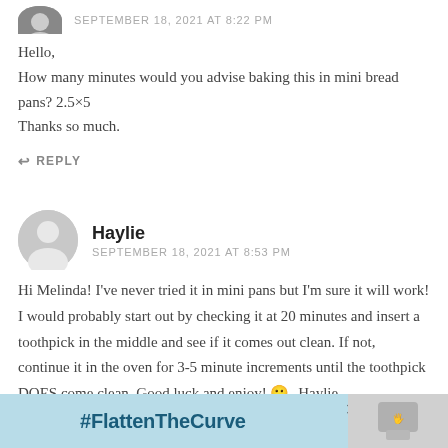[Figure (photo): Partial avatar image at top of page, black and white]
SEPTEMBER 18, 2021 AT 8:22 PM
Hello,
How many minutes would you advise baking this in mini bread pans? 2.5×5
Thanks so much.
↩ REPLY
[Figure (illustration): Grey circle avatar for Haylie]
Haylie
SEPTEMBER 18, 2021 AT 8:53 PM
Hi Melinda! I've never tried it in mini pans but I'm sure it will work! I would probably start out by checking it at 20 minutes and insert a toothpick in the middle and see if it comes out clean. If not, continue it in the oven for 3-5 minute increments until the toothpick DOES come clean. Good luck and enjoy! 🙂 -Haylie
[Figure (infographic): Advertisement banner: #FlattenTheCurve with handwashing image]